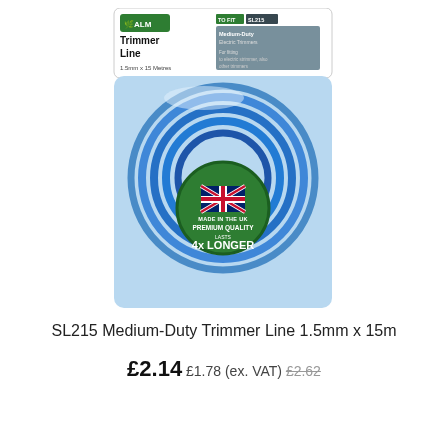[Figure (photo): ALM Trimmer Line product in blue blister packaging, showing a coil of blue 1.5mm trimmer line with a green circular badge featuring Union Jack and text 'Premium Quality Lasts 4x Longer']
SL215 Medium-Duty Trimmer Line 1.5mm x 15m
£2.14 £1.78 (ex. VAT) £2.62